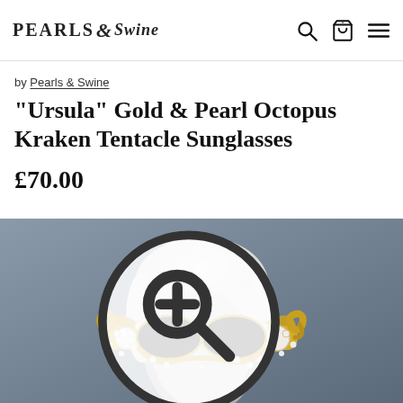PEARLS & Swine — navigation header with search, cart (0), and menu icons
by Pearls & Swine
"Ursula" Gold & Pearl Octopus Kraken Tentacle Sunglasses
£70.00
[Figure (photo): Product photo of ornate gold and pearl octopus/kraken tentacle sunglasses with black lenses, displayed on a white-haired mannequin head against a dark blue-grey background. Zoom icon visible in top-right corner.]